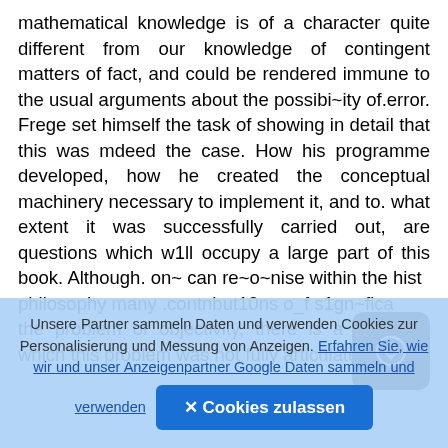mathematical knowledge is of a character quite different from our knowledge of contingent matters of fact, and could be rendered immune to the usual arguments about the possibi~ity of.error. Frege set himself the task of showing in detail that this was mdeed the case. How his programme developed, how he created the conceptual machinery necessary to implement it, and to. what extent it was successfully carried out, are questions which w1ll occupy a large part of this book. Although. on~ can re~o~nise within the hist philosophy many .contnbut10ns o_f s1gn~fica the problem of objectivity, there is a sense m which this problem was not fully articulated by
Unsere Partner sammeln Daten und verwenden Cookies zur Personalisierung und Messung von Anzeigen. Erfahren Sie, wie wir und unser Anzeigenpartner Google Daten sammeln und verwenden